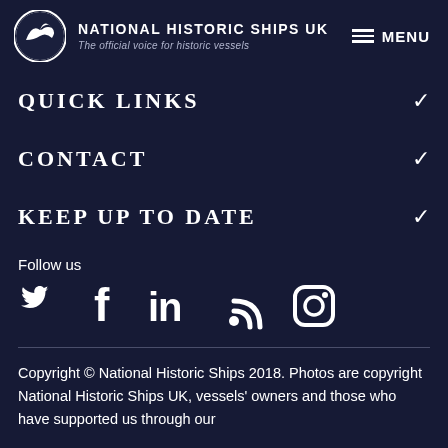NATIONAL HISTORIC SHIPS UK — The official voice for historic vessels — MENU
QUICK LINKS
CONTACT
KEEP UP TO DATE
Follow us
[Figure (other): Social media icons: Twitter, Facebook, LinkedIn, RSS, Instagram]
Copyright © National Historic Ships 2018. Photos are copyright National Historic Ships UK, vessels' owners and those who have supported us through our